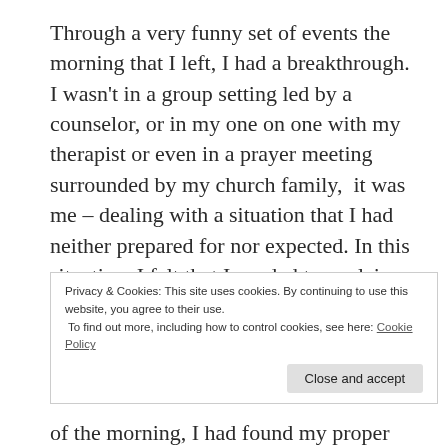Through a very funny set of events the morning that I left, I had a breakthrough. I wasn't in a group setting led by a counselor, or in my one on one with my therapist or even in a prayer meeting surrounded by my church family,  it was me – dealing with a situation that I had neither prepared for nor expected. In this situation, I felt that I needed to explain why something was happening the way it was and without thinking my response was “I lost my
Privacy & Cookies: This site uses cookies. By continuing to use this website, you agree to their use.
To find out more, including how to control cookies, see here: Cookie Policy
of the morning, I had found my proper